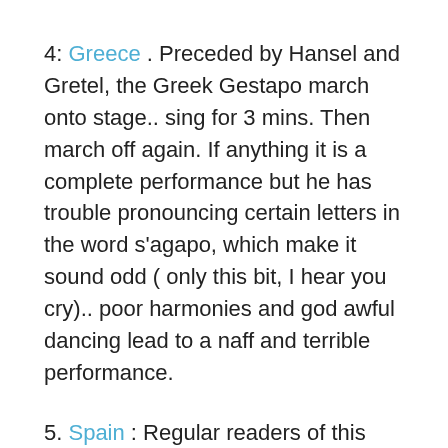4: Greece . Preceded by Hansel and Gretel, the Greek Gestapo march onto stage.. sing for 3 mins. Then march off again. If anything it is a complete performance but he has trouble pronouncing certain letters in the word s'agapo, which make it sound odd ( only this bit, I hear you cry).. poor harmonies and god awful dancing lead to a naff and terrible performance.
5. Spain : Regular readers of this page will notice that I think that this is " a pile of shite", and that view has not changed… However this was the first " crikey" moment of last night. She has put her contacts back in for this performance and she looked….reasonable……the choreography looks better ( though it could not get any worse…..) but she did miss some of the high notes and it detracted somewhat. The only Celebration that Europe will be having is that her fairytale